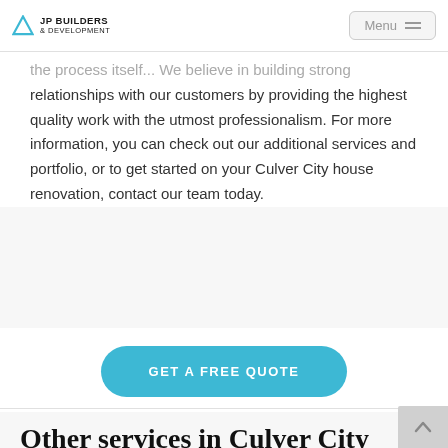JP BUILDERS & DEVELOPMENT | Menu
the process itself... We believe in building strong relationships with our customers by providing the highest quality work with the utmost professionalism. For more information, you can check out our additional services and portfolio, or to get started on your Culver City house renovation, contact our team today.
GET A FREE QUOTE
Other services in Culver City